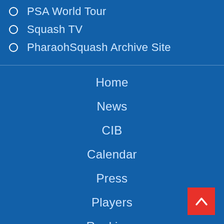PSA World Tour
Squash TV
PharaohSquash Archive Site
Home
News
CIB
Calendar
Press
Players
Rankings